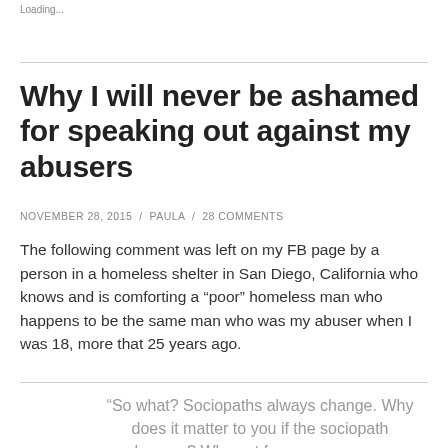Loading...
Why I will never be ashamed for speaking out against my abusers
NOVEMBER 28, 2015  /  PAULA  /  28 COMMENTS
The following comment was left on my FB page by a person in a homeless shelter in San Diego, California who knows and is comforting a “poor” homeless man who happens to be the same man who was my abuser when I was 18, more that 25 years ago.
“So what? Sociopaths always change. Why does it matter to you if the sociopath changes? Why not focus on your own changes and transformation?” – you